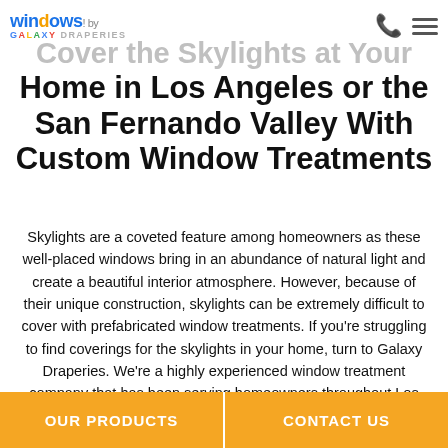Windows! by Galaxy Draperies
Cover the Skylights at Your Home in Los Angeles or the San Fernando Valley With Custom Window Treatments
Skylights are a coveted feature among homeowners as these well-placed windows bring in an abundance of natural light and create a beautiful interior atmosphere. However, because of their unique construction, skylights can be extremely difficult to cover with prefabricated window treatments. If you're struggling to find coverings for the skylights in your home, turn to Galaxy Draperies. We're a highly experienced window treatment company that has been serving homeowners throughout Los Angeles and the San Fernando Valley since 1976. We
OUR PRODUCTS   CONTACT US